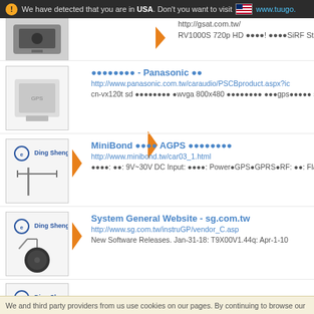We have detected that you are in USA. Don't you want to visit www.tuugo.
[Figure (screenshot): Car device product image (partial, top of page)]
http://gsat.com.tw/
RV1000S 720p HD ●●●●! ●●●●SiRF Stra VI GPS●.●●G-Sensor
[Figure (photo): Panasonic GPS device white rectangular module]
●●●●●●●● - Panasonic ●●
http://www.panasonic.com.tw/caraudio/PSCBproduct.aspx?ic
cn-vx120t sd ●●●●●●●● ●wvga 800x480 ●●●●●●●● ●●●gps●●●●● sirf star
[Figure (photo): Ding Sheng branded GPS antenna module]
MiniBond ●●●● AGPS ●●●●●●●●
http://www.minibond.tw/car03_1.html
●●●●: ●●: 9V~30V DC Input: ●●●●: Power●GPS●GPRS●RF: ●●: Fla
[Figure (photo): Ding Sheng branded circular GPS antenna with cable]
System General Website - sg.com.tw
http://www.sg.com.tw/instruGP/vendor_C.asp
New Software Releases. Jan-31-18: T9X00V1.44q: Apr-1-10
[Figure (logo): Ding Sheng logo partial at bottom]
We and third party providers from us use cookies on our pages. By continuing to browse our